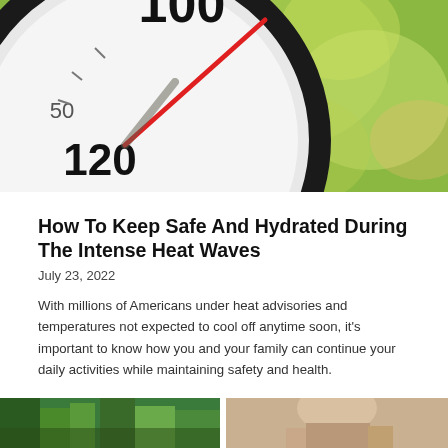[Figure (photo): Close-up of a thermometer gauge showing temperature readings around 100-120 degrees, with green blurred bokeh background suggesting outdoor summer heat.]
How To Keep Safe And Hydrated During The Intense Heat Waves
July 23, 2022
With millions of Americans under heat advisories and temperatures not expected to cool off anytime soon, it's important to know how you and your family can continue your daily activities while maintaining safety and health.
[Figure (photo): Two partial images at the bottom of the page — left shows a colorful textured outdoor scene, right shows a partial figure of a person.]